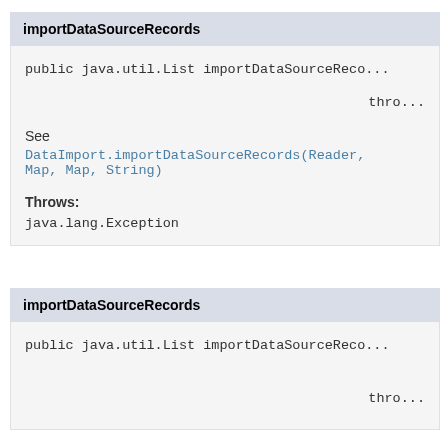importDataSourceRecords
public java.util.List importDataSourceRecords(...
                                                    thro...
See
DataImport.importDataSourceRecords(Reader, Map, Map, String)
Throws:
java.lang.Exception
importDataSourceRecords
public java.util.List importDataSourceRecords(...
                                                    thro...